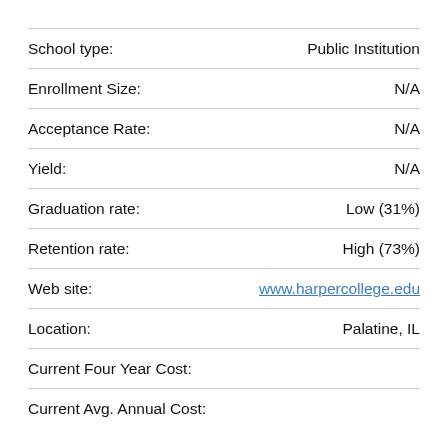| Field | Value |
| --- | --- |
| School type: | Public Institution |
| Enrollment Size: | N/A |
| Acceptance Rate: | N/A |
| Yield: | N/A |
| Graduation rate: | Low (31%) |
| Retention rate: | High (73%) |
| Web site: | www.harpercollege.edu |
| Location: | Palatine, IL |
| Current Four Year Cost: |  |
| Current Avg. Annual Cost: |  |